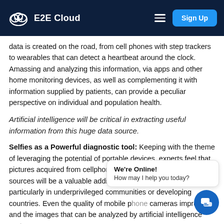E2E Cloud  Sign Up
data is created on the road, from cell phones with step trackers to wearables that can detect a heartbeat around the clock. Amassing and analyzing this information, via apps and other home monitoring devices, as well as complementing it with information supplied by patients, can provide a peculiar perspective on individual and population health.
Artificial intelligence will be critical in extracting useful information from this huge data source.
Selfies as a Powerful diagnostic tool: Keeping with the theme of leveraging the potential of portable devices, experts feel that pictures acquired from cellphones and other consumer-grade sources will be a valuable addition to clinical quality imaging, particularly in underprivileged communities or developing countries. Even the quality of mobile phone cameras improves, and the images that can be analyzed by artificial intelligence systems.